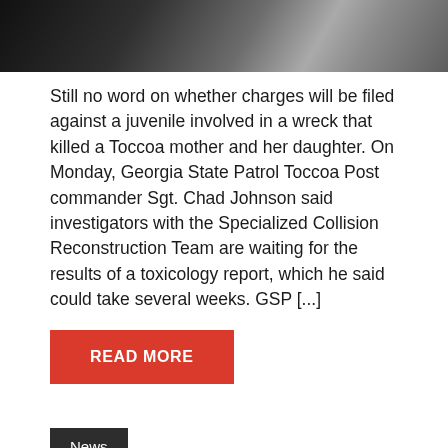[Figure (photo): Dark background image with metallic object, appears to be handcuffs or similar law enforcement equipment]
Still no word on whether charges will be filed against a juvenile involved in a wreck that killed a Toccoa mother and her daughter. On Monday, Georgia State Patrol Toccoa Post commander Sgt. Chad Johnson said investigators with the Specialized Collision Reconstruction Team are waiting for the results of a toxicology report, which he said could take several weeks. GSP [...]
READ MORE
News
TUESDAY COMMENTARY WITH BILLY